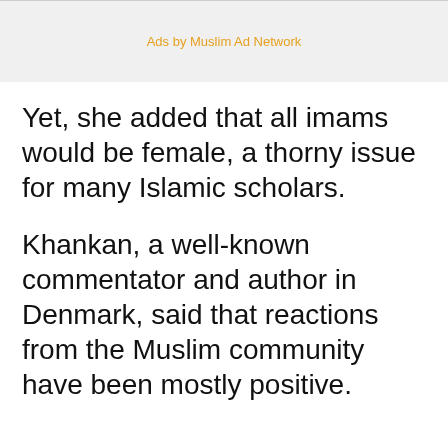[Figure (other): Advertisement banner with light gray background and text 'Ads by Muslim Ad Network' in orange]
Yet, she added that all imams would be female, a thorny issue for many Islamic scholars.
Khankan, a well-known commentator and author in Denmark, said that reactions from the Muslim community have been mostly positive.